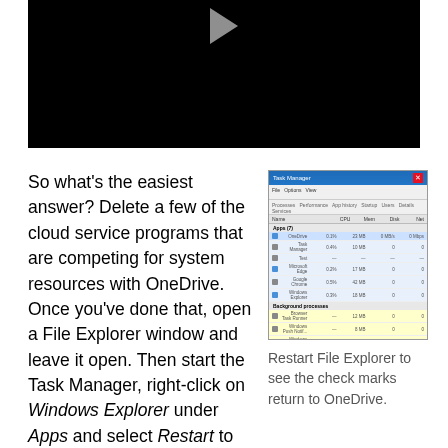[Figure (screenshot): Black video player thumbnail with a faint play button arrow at the top]
So what’s the easiest answer? Delete a few of the cloud service programs that are competing for system resources with OneDrive. Once you’ve done that, open a File Explorer window and leave it open. Then start the Task Manager, right-click on Windows Explorer under Apps and select Restart to get your icons back.
[Figure (screenshot): Windows Task Manager screenshot showing processes list with some rows highlighted in blue and yellow]
Restart File Explorer to see the check marks return to OneDrive.